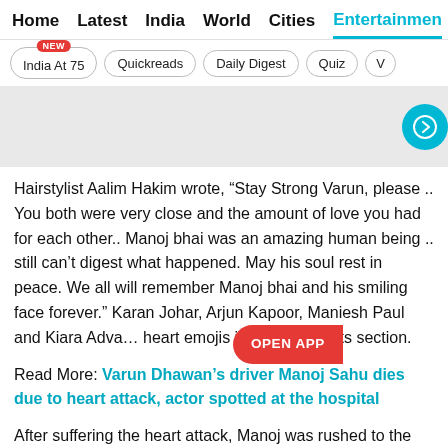Home  Latest  India  World  Cities  Entertainment
India At 75 (NEW)  Quickreads  Daily Digest  Quiz  V
[Figure (other): Gray advertisement placeholder block with a teal circular right-arrow carousel button on the right side]
Hairstylist Aalim Hakim wrote, “Stay Strong Varun, please .. You both were very close and the amount of love you had for each other.. Manoj bhai was an amazing human being .. still can’t digest what happened. May his soul rest in peace. We all will remember Manoj bhai and his smiling face forever.” Karan Johar, Arjun Kapoor, Maniesh Paul and Kiara Adva… heart emojis in the comments section.
Read More: Varun Dhawan's driver Manoj Sahu dies due to heart attack, actor spotted at the hospital
After suffering the heart attack, Manoj was rushed to the Lilavati Hospital in Bandra, where the doctors declared him